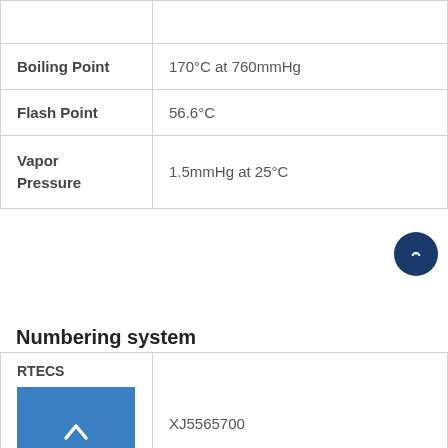| Property | Value |
| --- | --- |
|  |  |
| Boiling Point | 170°C at 760mmHg |
| Flash Point | 56.6°C |
| Vapor Pressure | 1.5mmHg at 25°C |
Numbering system
| System | Value |
| --- | --- |
| RTECS | XJ5565700 |
| EINECS |  |